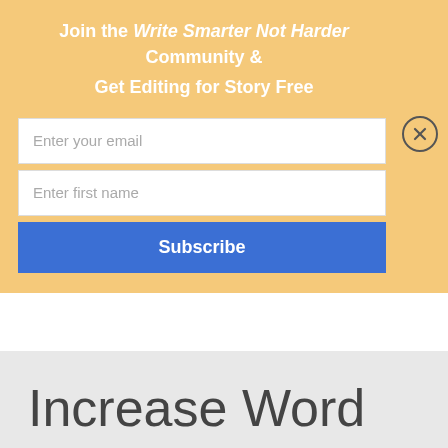Join the Write Smarter Not Harder Community & Get Editing for Story Free
[Figure (screenshot): Email subscription form with two text input fields (Enter your email, Enter first name) and a blue Subscribe button, plus a circular close (X) button in the top-right corner, all on a golden-yellow background]
Increase Word Count